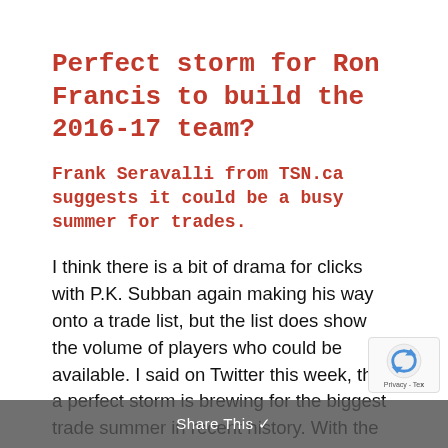Perfect storm for Ron Francis to build the 2016-17 team?
Frank Seravalli from TSN.ca suggests it could be a busy summer for trades.
I think there is a bit of drama for clicks with P.K. Subban again making his way onto a trade list, but the list does show the volume of players who could be available. I said on Twitter this week, that a perfect storm is brewing for the biggest trade summer in recent history. With the cap now expected to be nearly flat, so many teams budget-constrained, a number of good RFAs who will require bigger contracts and the potential impending expansion draft next
Share This